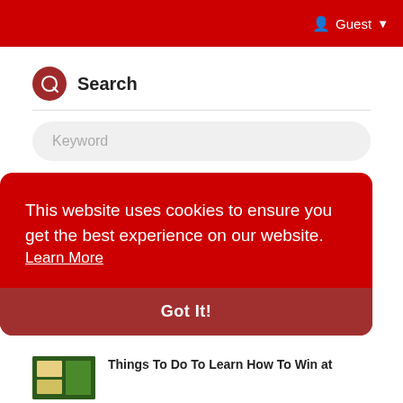Guest
Search
Keyword
Popular Posts
1080p!!JP | বাংলাদেশে আপনার পরিচয় (সিনেমা) [2020]
This website uses cookies to ensure you get the best experience on our website. Learn More
Got It!
Things To Do To Learn How To Win at